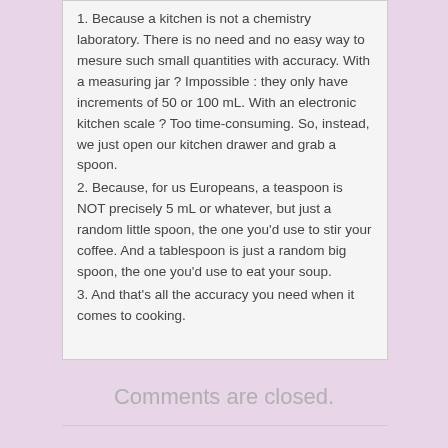1. Because a kitchen is not a chemistry laboratory. There is no need and no easy way to mesure such small quantities with accuracy. With a measuring jar ? Impossible : they only have increments of 50 or 100 mL. With an electronic kitchen scale ? Too time-consuming. So, instead, we just open our kitchen drawer and grab a spoon.
2. Because, for us Europeans, a teaspoon is NOT precisely 5 mL or whatever, but just a random little spoon, the one you'd use to stir your coffee. And a tablespoon is just a random big spoon, the one you'd use to eat your soup.
3. And that's all the accuracy you need when it comes to cooking.
Comments are closed.